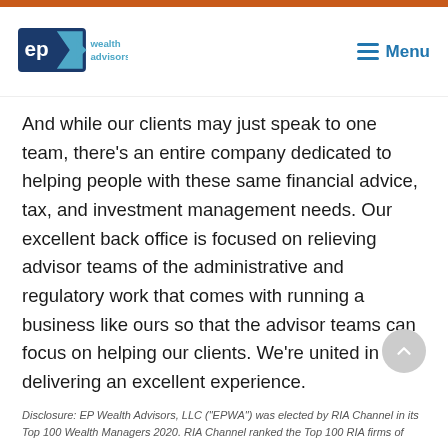[Figure (logo): EP Wealth Advisors logo with blue and dark blue geometric arrow shapes and text 'ep wealth advisors']
And while our clients may just speak to one team, there's an entire company dedicated to helping people with these same financial advice, tax, and investment management needs. Our excellent back office is focused on relieving advisor teams of the administrative and regulatory work that comes with running a business like ours so that the advisor teams can focus on helping our clients. We're united in delivering an excellent experience.
Disclosure: EP Wealth Advisors, LLC ("EPWA") was elected by RIA Channel in its Top 100 Wealth Managers 2020. RIA Channel ranked the Top 100 RIA firms of